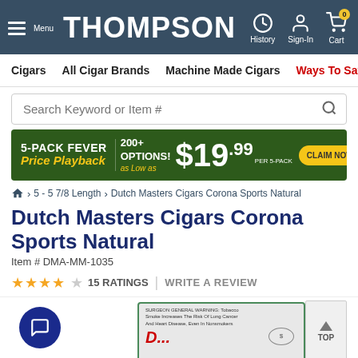THOMPSON — Menu | History | Sign-In | Cart
Cigars | All Cigar Brands | Machine Made Cigars | Ways To Save
Search Keyword or Item #
[Figure (infographic): 5-PACK FEVER Price Playback banner. 200+ OPTIONS! as Low as $19.99 PER 5-PACK. CLAIM NOW button.]
Home > 5 - 5 7/8 Length > Dutch Masters Cigars Corona Sports Natural
Dutch Masters Cigars Corona Sports Natural
Item # DMA-MM-1035
★★★★☆ 15 RATINGS | WRITE A REVIEW
[Figure (photo): Product image of Dutch Masters Cigars Corona Sports Natural box with cigar and chat widget.]